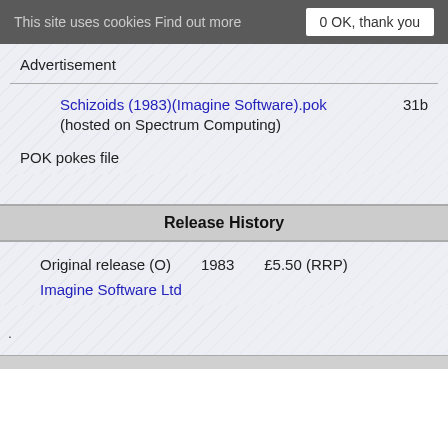This site uses cookies Find out more   0 OK, thank you
Advertisement
Schizoids (1983)(Imagine Software).pok
(hosted on Spectrum Computing)
31b
POK pokes file
Release History
| Release | Year | Price |
| --- | --- | --- |
| Original release (O) | 1983 | £5.50 (RRP) |
Imagine Software Ltd
.